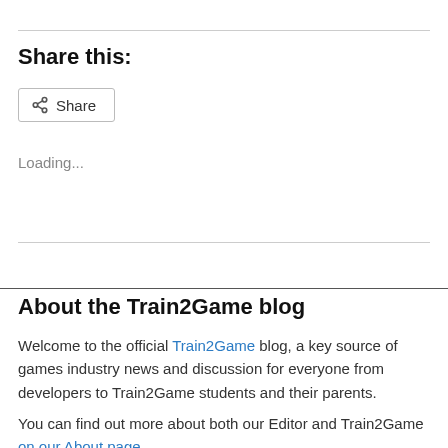Share this:
[Figure (other): Share button with share icon]
Loading...
About the Train2Game blog
Welcome to the official Train2Game blog, a key source of games industry news and discussion for everyone from developers to Train2Game students and their parents.
You can find out more about both our Editor and Train2Game on our About page.